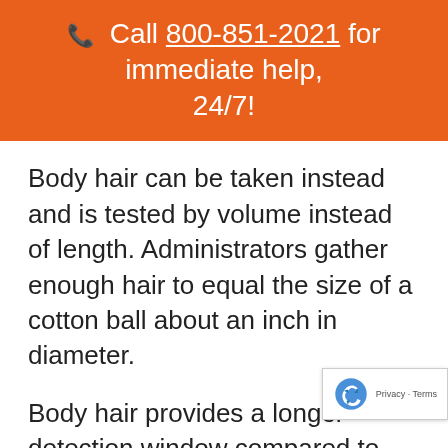📞 Call 800-851-2021 for immediate help, 24/7!
Body hair can be taken instead and is tested by volume instead of length. Administrators gather enough hair to equal the size of a cotton ball about an inch in diameter.
Body hair provides a longer detection window compared to head hair. Ha collected from an employee's head